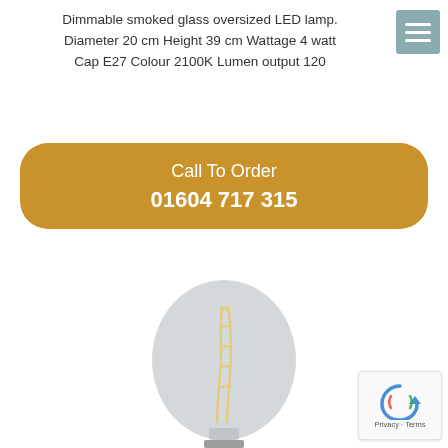Dimmable smoked glass oversized LED lamp. Diameter 20 cm Height 39 cm Wattage 4 watt Cap E27 Colour 2100K Lumen output 120
Call To Order
01604 717 315
[Figure (photo): Large oversized smoked glass LED filament bulb with visible warm-white filament, on a white background]
[Figure (logo): reCAPTCHA badge with arrow icon and Privacy - Terms text]